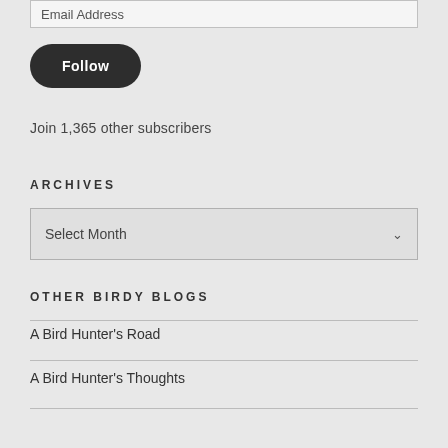Email Address
Follow
Join 1,365 other subscribers
ARCHIVES
Select Month
OTHER BIRDY BLOGS
A Bird Hunter's Road
A Bird Hunter's Thoughts